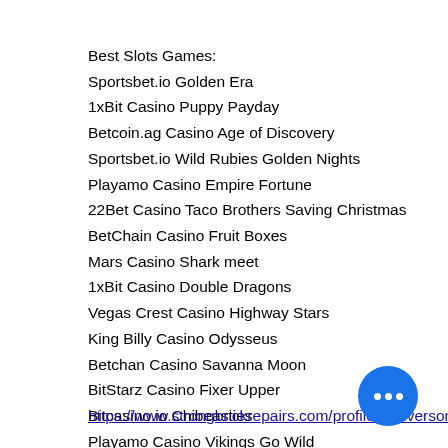Best Slots Games:
Sportsbet.io Golden Era
1xBit Casino Puppy Payday
Betcoin.ag Casino Age of Discovery
Sportsbet.io Wild Rubies Golden Nights
Playamo Casino Empire Fortune
22Bet Casino Taco Brothers Saving Christmas
BetChain Casino Fruit Boxes
Mars Casino Shark meet
1xBit Casino Double Dragons
Vegas Crest Casino Highway Stars
King Billy Casino Odysseus
Betchan Casino Savanna Moon
BitStarz Casino Fixer Upper
Bitcasino.io Chibeasties
Playamo Casino Vikings Go Wild
https://www.strongbrickrepairs.com/profile/nicifverson7458159/profile